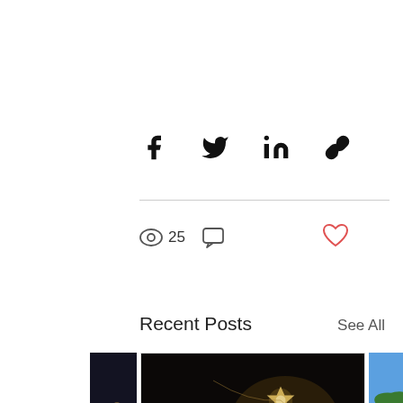[Figure (infographic): Social share icons: Facebook, Twitter, LinkedIn, Link]
[Figure (infographic): Stats bar with eye/views icon showing 25 views, comment icon, and red heart/like button]
Recent Posts
See All
[Figure (photo): Partial dark photo on the left edge]
[Figure (photo): Star-shaped string lights on dark background, with blog post title 'You are the Star, have you']
[Figure (photo): Partial blue sky with palm tree photo on right edge]
You are the Star, have you